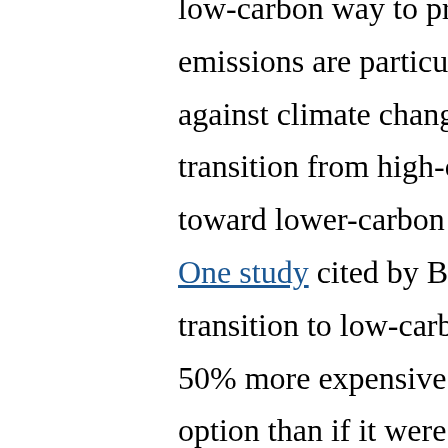low-carbon way to produce electricity. Its low-carbon emissions are particularly important in the fight against climate change, as the world looks to transition from high-carbon fuels like oil and coal toward lower-carbon methods of producing power. One study cited by Barron and Hill estimates that the transition to low-carbon energy pathways would be 50% more expensive if nuclear power were not an option than if it were included as a transition energy source.

Because of these benefits and drawbacks, the decision whether to increase reliance on nuclear energy is complex. According to Barron and Hill, to get a sense of the true cost of nuclear power, we need to assess not only